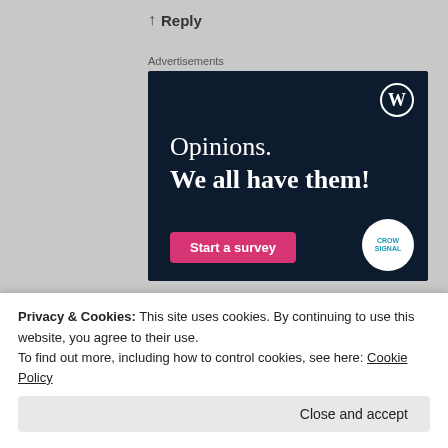↑ Reply
Advertisements
[Figure (illustration): WordPress advertisement banner with dark navy background showing 'Opinions. We all have them!' text, a WordPress logo, a pink 'Start a survey' button, and a Crowdsignal badge.]
Privacy & Cookies: This site uses cookies. By continuing to use this website, you agree to their use.
To find out more, including how to control cookies, see here: Cookie Policy
Close and accept
Just happy to see your smile...I know Peru will never